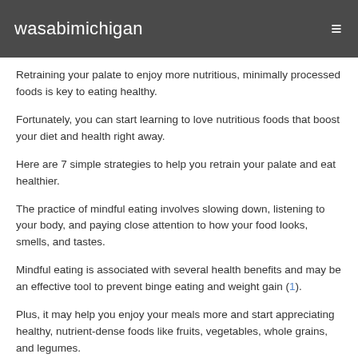wasabimichigan
Retraining your palate to enjoy more nutritious, minimally processed foods is key to eating healthy.
Fortunately, you can start learning to love nutritious foods that boost your diet and health right away.
Here are 7 simple strategies to help you retrain your palate and eat healthier.
The practice of mindful eating involves slowing down, listening to your body, and paying close attention to how your food looks, smells, and tastes.
Mindful eating is associated with several health benefits and may be an effective tool to prevent binge eating and weight gain (1).
Plus, it may help you enjoy your meals more and start appreciating healthy, nutrient-dense foods like fruits, vegetables, whole grains, and legumes.
To get started, minimize any external distractions during…